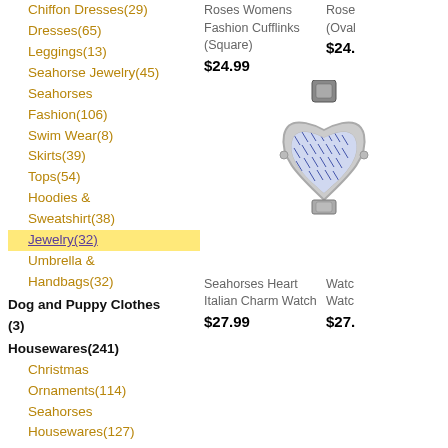Chiffon Dresses(29)
Dresses(65)
Leggings(13)
Seahorse Jewelry(45)
Seahorses Fashion(106)
Swim Wear(8)
Skirts(39)
Tops(54)
Hoodies & Sweatshirt(38)
Jewelry(32)
Umbrella & Handbags(32)
Dog and Puppy Clothes (3)
Housewares(241)
Christmas Ornaments(114)
Seahorses Housewares(127)
Canvas, Prints & Posters(31)
Palm Beach Purple Prints(31)
Roses Womens Fashion Cufflinks (Square)
$24.99
Rose (Oval
$24.
[Figure (photo): Seahorses Heart Italian Charm Watch - silver heart-shaped Italian charm watch with blue seahorse pattern inlay]
Seahorses Heart Italian Charm Watch
$27.99
Watc Watc
$27.